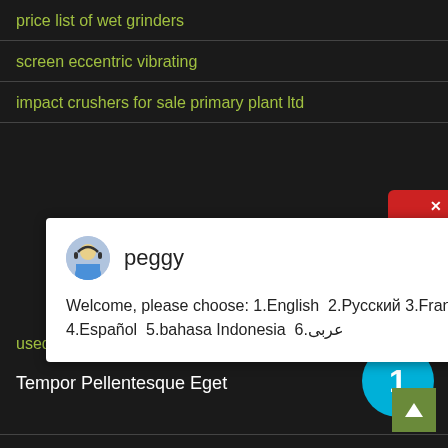price list of wet grinders
screen eccentric vibrating
impact crushers for sale primary plant ltd
[Figure (screenshot): Chat popup with avatar of 'peggy' and welcome message in multiple languages]
used mobile crusher plant with strong mobility
Tempor Pellentesque Eget
imported granite emerald pearl granite tile